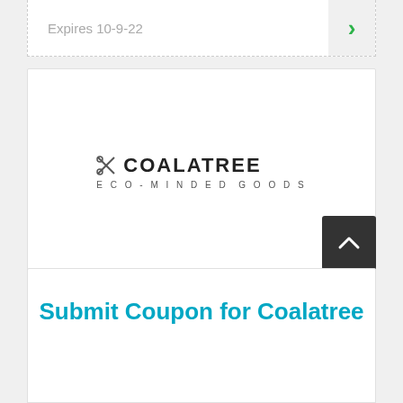Expires 10-9-22
[Figure (logo): Coalatree logo with scissors icon and tagline Eco-Minded Goods]
★★★★★ Rate
5.0 / 271 Votes
Submit Coupon for Coalatree